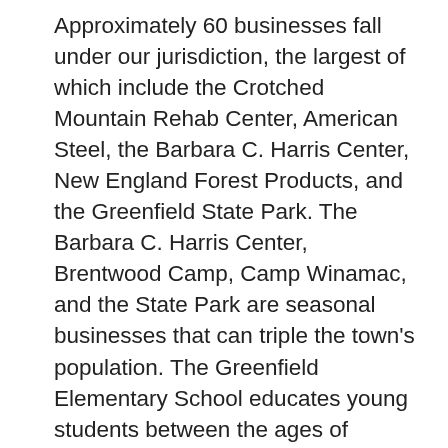Approximately 60 businesses fall under our jurisdiction, the largest of which include the Crotched Mountain Rehab Center, American Steel, the Barbara C. Harris Center, New England Forest Products, and the Greenfield State Park. The Barbara C. Harris Center, Brentwood Camp, Camp Winamac, and the State Park are seasonal businesses that can triple the town's population. The Greenfield Elementary School educates young students between the ages of kindergarten and fourth grade, so regular patrols are made during the beginning and end of the school day to ensure safety. With traffic volumes constantly exceeding 2,500 vehicles on Routes 31 and 136, traffic safety is important on a daily basis. This traffic increases during the summer months, as the State Park brings an additional 1,000 people to town on any given weekend. We record over 1,200 traffic violations during the course of any given year, and we continuously work to enforce these laws. However, we are responsible for much more than traffic